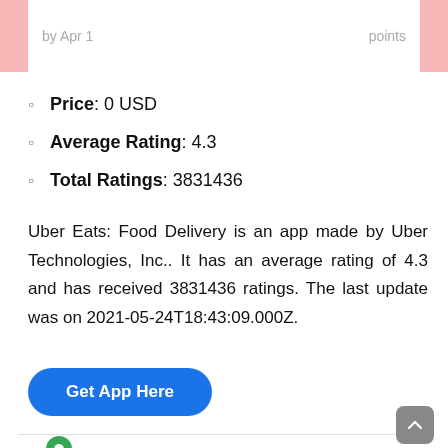by Apr 1 ... points
Price: 0 USD
Average Rating: 4.3
Total Ratings: 3831436
Uber Eats: Food Delivery is an app made by Uber Technologies, Inc.. It has an average rating of 4.3 and has received 3831436 ratings. The last update was on 2021-05-24T18:43:09.000Z.
Get App Here